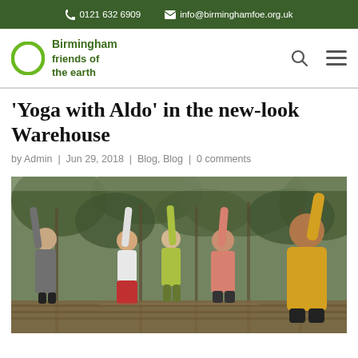0121 632 6909   info@birminghamfoe.org.uk
[Figure (logo): Birmingham Friends of the Earth logo — green circle outline with organisation name in green text]
'Yoga with Aldo' in the new-look Warehouse
by Admin | Jun 29, 2018 | Blog, Blog | 0 comments
[Figure (photo): Group of people outdoors doing yoga with arms raised above their heads, surrounded by trees. People wearing casual clothing in various colours including grey, red, yellow-green, peach/salmon, and yellow/orange.]